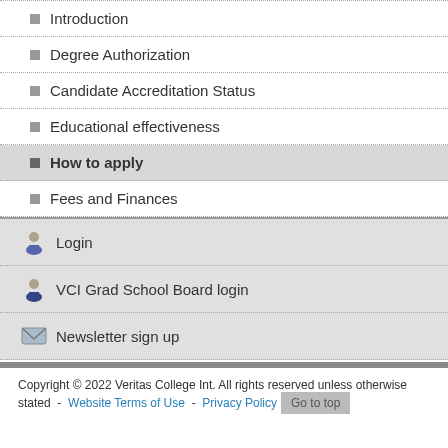Introduction
Degree Authorization
Candidate Accreditation Status
Educational effectiveness
How to apply
Fees and Finances
Login
VCI Grad School Board login
Newsletter sign up
Copyright © 2022 Veritas College Int. All rights reserved unless otherwise stated  -  Website Terms of Use  -  Privacy Policy